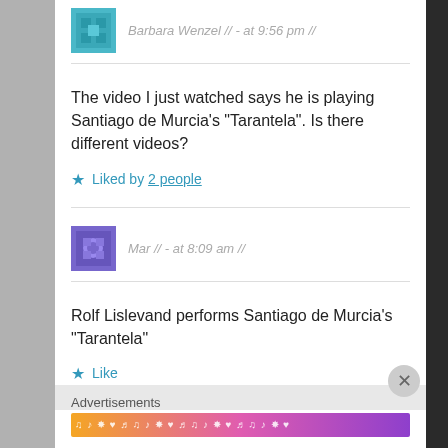Barbara Wenzel // - at 9:56 pm //
The video I just watched says he is playing Santiago de Murcia's “Tarantela”. Is there different videos?
★ Liked by 2 people
Mar // - at 8:09 am //
Rolf Lislevand performs Santiago de Murcia’s “Tarantela”
★ Like
Advertisements
Advertisements